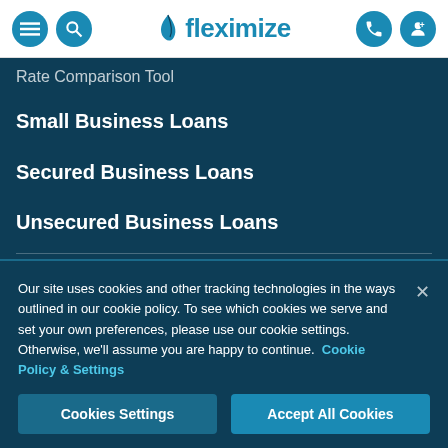fleximize — navigation header with menu, search, phone, and account icons
Rate Comparison Tool
Small Business Loans
Secured Business Loans
Unsecured Business Loans
Sitemap
Our site uses cookies and other tracking technologies in the ways outlined in our cookie policy. To see which cookies we serve and set your own preferences, please use our cookie settings. Otherwise, we'll assume you are happy to continue.  Cookie Policy & Settings
Cookies Settings | Accept All Cookies